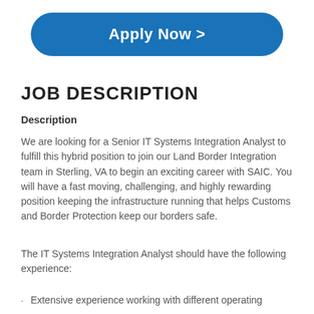[Figure (other): Blue rounded rectangle button with white bold text 'Apply Now >']
JOB DESCRIPTION
Description
We are looking for a Senior IT Systems Integration Analyst to fulfill this hybrid position to join our Land Border Integration team in Sterling, VA to begin an exciting career with SAIC. You will have a fast moving, challenging, and highly rewarding position keeping the infrastructure running that helps Customs and Border Protection keep our borders safe.
The IT Systems Integration Analyst should have the following experience:
Extensive experience working with different operating